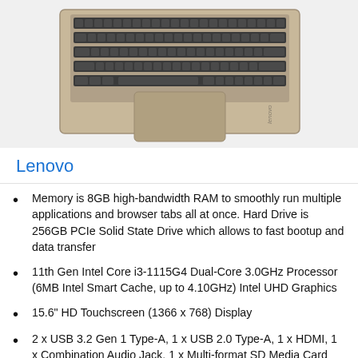[Figure (photo): Lenovo laptop shown from above, open keyboard view with gold/beige color, touchpad visible, Lenovo logo on palm rest]
Lenovo
Memory is 8GB high-bandwidth RAM to smoothly run multiple applications and browser tabs all at once. Hard Drive is 256GB PCIe Solid State Drive which allows to fast bootup and data transfer
11th Gen Intel Core i3-1115G4 Dual-Core 3.0GHz Processor (6MB Intel Smart Cache, up to 4.10GHz) Intel UHD Graphics
15.6" HD Touchscreen (1366 x 768) Display
2 x USB 3.2 Gen 1 Type-A, 1 x USB 2.0 Type-A, 1 x HDMI, 1 x Combination Audio Jack, 1 x Multi-format SD Media Card Reader, Windows 11 in S Mode